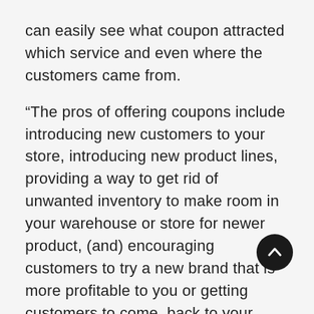can easily see what coupon attracted which service and even where the customers came from.
“The pros of offering coupons include introducing new customers to your store, introducing new product lines, providing a way to get rid of unwanted inventory to make room in your warehouse or store for newer product, (and) encouraging customers to try a new brand that is more profitable to you or getting customers to come back to your store,” wrote Investopedia. “The key to maximizing the advantage of coupons in today’s digital world is using coupons as a way to build your customer base. Coupons can become a crucial part of your social